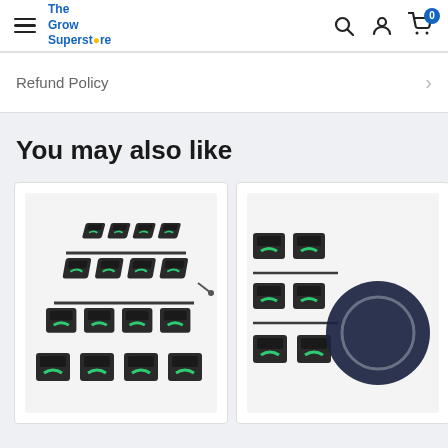The Grow Superstore — navigation header with hamburger menu, logo, search, account, and cart icons
Refund Policy
You may also like
[Figure (photo): Hydroponic growing system with multiple black square pots connected by green tubing, arranged in a grid pattern]
[Figure (photo): Partial view of hydroponic growing system with black square pots and green tubing, with a circular dark logo/icon overlay]